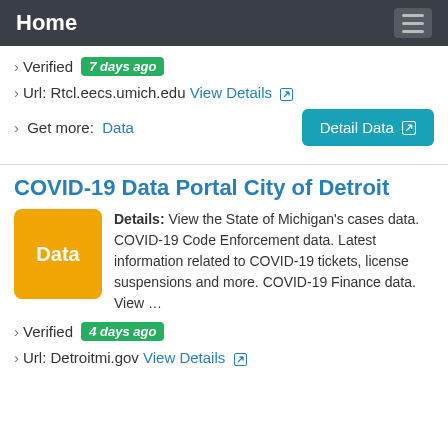Home
› Verified 7 days ago
› Url: Rtcl.eecs.umich.edu View Details ↗
› Get more: Data
COVID-19 Data Portal City of Detroit
Details: View the State of Michigan's cases data. COVID-19 Code Enforcement data. Latest information related to COVID-19 tickets, license suspensions and more. COVID-19 Finance data. View …
› Verified 4 days ago
› Url: Detroitmi.gov View Details ↗